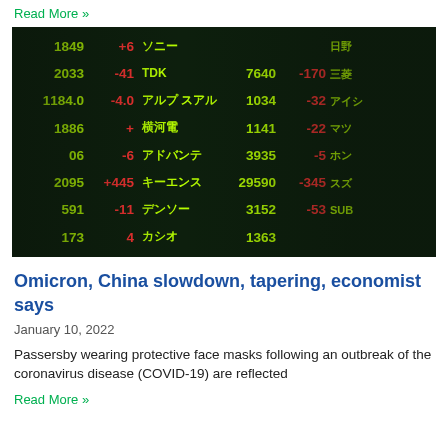Read More »
[Figure (photo): Two men wearing protective face masks standing in front of a Japanese stock market board displaying green stock prices and red change indicators in Japanese and English text, including TDK 7640 -170, キーエンス 29590 -345, デンソー 3152 -53.]
Omicron, China slowdown, tapering, economist says
January 10, 2022
Passersby wearing protective face masks following an outbreak of the coronavirus disease (COVID-19) are reflected
Read More »